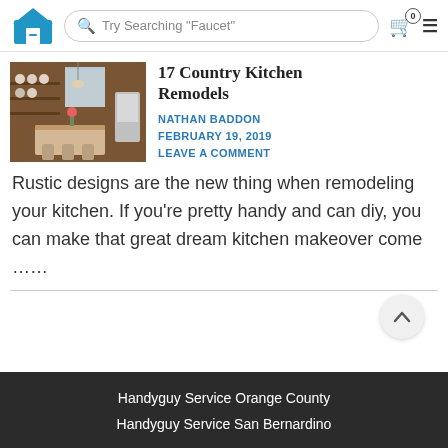Try Searching "Faucet"
[Figure (photo): Country kitchen remodel photo showing rustic wooden island, shelves with dishes, and modern appliances]
17 Country Kitchen Remodels
NATHAN BADDON
FEBRUARY 19, 2019
LEAVE A COMMENT
Rustic designs are the new thing when remodeling your kitchen. If you're pretty handy and can diy, you can make that great dream kitchen makeover come ……
Handyguy Service Orange County
Handyguy Service San Bernardino